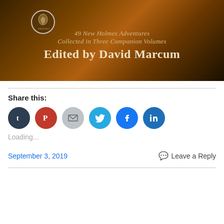[Figure (illustration): Book cover banner image showing a dark atmospheric street scene with silhouetted figures. Contains a Sherlock Holmes medallion/circle logo on the left, and text reading '49 New Holmes Adventures Collected in Three Companion Volumes Edited by David Marcum' in a stylized serif font on a warm amber/dark background.]
Share this:
[Figure (infographic): Row of six circular social media share buttons: Tumblr (dark navy), Pinterest (red), Email (light gray), Twitter (cyan/blue), Facebook (blue), LinkedIn (blue)]
Loading...
September 3, 2019
Leave a Reply